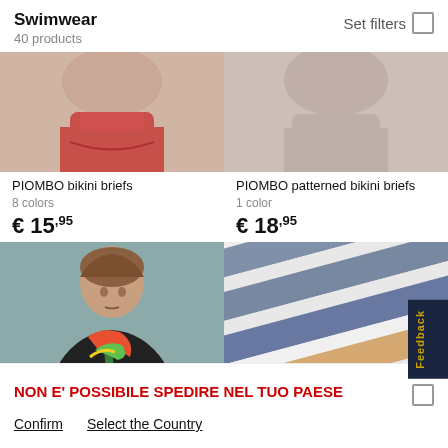Swimwear
40 products
Set filters
[Figure (photo): Partial view of model wearing red bikini briefs against beige background]
[Figure (photo): Partial view of model wearing nude/beige bikini briefs against light background]
PIOMBO bikini briefs
8 colors
€ 15,95
PIOMBO patterned bikini briefs
1 color
€ 18,95
[Figure (photo): Female model wearing black and green patterned swimwear with colorful scarf, against teal/mint background]
[Figure (photo): Close-up of striped fabric in blue-grey, white, and tan/beige stripes]
NON E' POSSIBILE SPEDIRE NEL TUO PAESE
Confirm   Select the Country